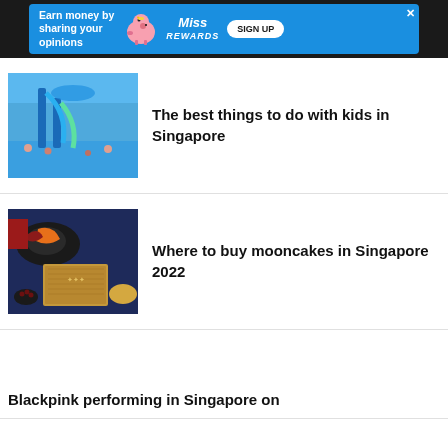[Figure (screenshot): Advertisement banner: 'Earn money by sharing your opinions' with MissRewards piggy bank logo and SIGN UP button]
[Figure (photo): Water park with blue slides and pool, children playing]
The best things to do with kids in Singapore
[Figure (photo): Mooncake gift box with wooden packaging, dark blue background, pastries on plate]
Where to buy mooncakes in Singapore 2022
Blackpink performing in Singapore on